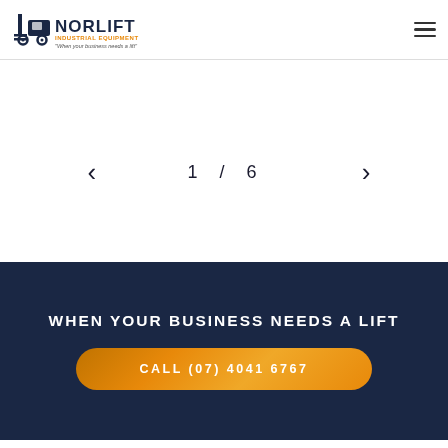[Figure (logo): Norlift Industrial Equipment logo with forklift icon. Text reads NORLIFT INDUSTRIAL EQUIPMENT. Tagline: When your business needs a lift]
< 1 / 6 >
WHEN YOUR BUSINESS NEEDS A LIFT
CALL (07) 4041 6767